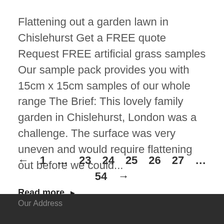Flattening out a garden lawn in Chislehurst Get a FREE quote Request FREE artificial grass samples Our sample pack provides you with 15cm x 15cm samples of our whole range The Brief: This lovely family garden in Chislehurst, London was a challenge. The surface was very uneven and would require flattening out before we could...
Read more ▶
← 1 … 23 24 25 26 27 … 54 →
Our Address